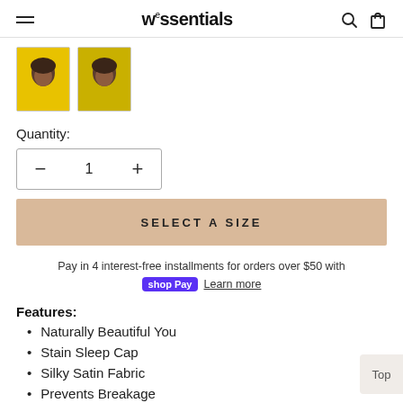wessentials
[Figure (photo): Two product thumbnail images showing a person wearing a satin sleep cap on a yellow background]
Quantity:
− 1 +
SELECT A SIZE
Pay in 4 interest-free installments for orders over $50 with
shop Pay  Learn more
Features:
Naturally Beautiful You
Stain Sleep Cap
Silky Satin Fabric
Prevents Breakage